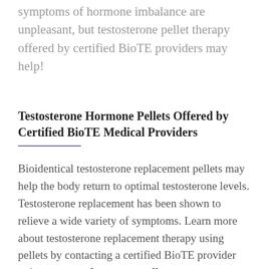symptoms of hormone imbalance are unpleasant, but testosterone pellet therapy offered by certified BioTE providers may help!
Testosterone Hormone Pellets Offered by Certified BioTE Medical Providers
Bioidentical testosterone replacement pellets may help the body return to optimal testosterone levels. Testosterone replacement has been shown to relieve a wide variety of symptoms. Learn more about testosterone replacement therapy using pellets by contacting a certified BioTE provider today.
Hormone Replacement Pellets May